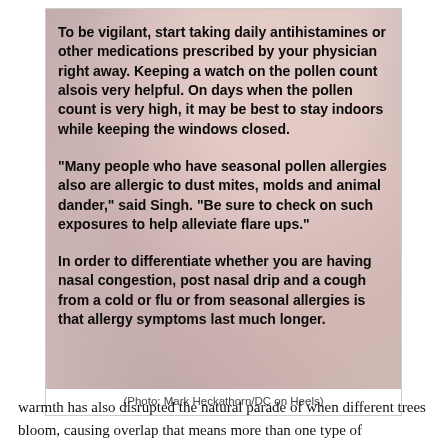[Figure (photo): Floral background image (blossoms, pinks and whites) with bold black text overlay containing three paragraphs about allergy management advice.]
(Photo: Mark Heckathorn/DC on Heels)
warmth has also disrupted the natural parade of when different trees bloom, causing overlap that means more than one type of